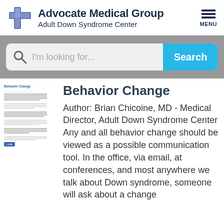[Figure (logo): Advocate Medical Group logo with blue cross icon and text 'Advocate Medical Group / Adult Down Syndrome Center' plus hamburger menu icon labeled MENU]
[Figure (screenshot): Search bar with magnifying glass icon, placeholder text 'I'm looking for...' and a cyan 'Search' button, on a grey background]
[Figure (screenshot): Small thumbnail of the Behavior Change article document on the left side]
Behavior Change
Author: Brian Chicoine, MD - Medical Director, Adult Down Syndrome Center Any and all behavior change should be viewed as a possible communication tool. In the office, via email, at conferences, and most anywhere we talk about Down syndrome, someone will ask about a change